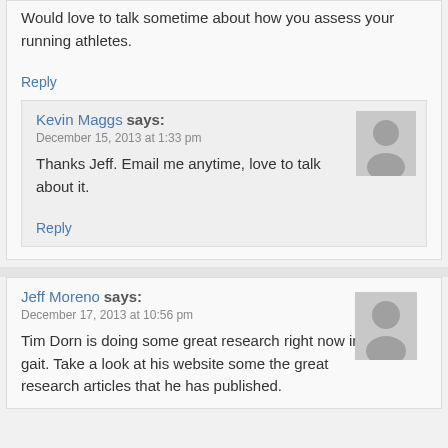Would love to talk sometime about how you assess your running athletes.
Reply
Kevin Maggs says:
December 15, 2013 at 1:33 pm
Thanks Jeff. Email me anytime, love to talk about it.
Reply
Jeff Moreno says:
December 17, 2013 at 10:56 pm
Tim Dorn is doing some great research right now in gait. Take a look at his website some the great research articles that he has published.